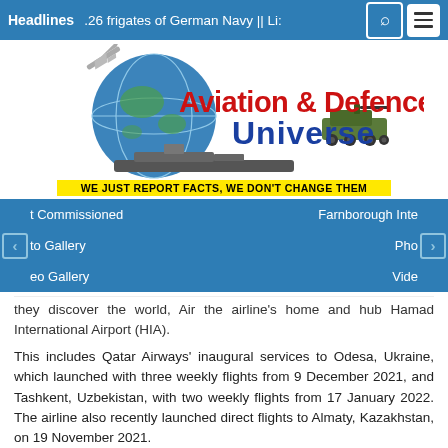Headlines  .26 frigates of German Navy || Li:
[Figure (logo): Aviation & Defence Universe logo with globe, aircraft, warship and tank imagery. Tagline: WE JUST REPORT FACTS, WE DON'T CHANGE THEM]
t Commissioned  Farnborough Inte
to Gallery  Pho
eo Gallery  Vide
they discover the world, Air the airline's home and hub Hamad International Airport (HIA).
This includes Qatar Airways' inaugural services to Odesa, Ukraine, which launched with three weekly flights from 9 December 2021, and Tashkent, Uzbekistan, with two weekly flights from 17 January 2022. The airline also recently launched direct flights to Almaty, Kazakhstan, on 19 November 2021.
Qatar Airways Group Chief Executive, His Excellency Mr.